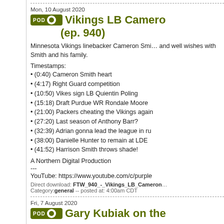Mon, 10 August 2020
Vikings LB Cameron (ep. 940)
Minnesota Vikings linebacker Cameron Smi... and well wishes with Smith and his family.
Timestamps:
• (0:40) Cameron Smith heart
• (4:17) Right Guard competition
• (10:50) Vikes sign LB Quientin Poling
• (15:18) Draft Purdue WR Rondale Moore
• (21:00) Packers cheating the Vikings again
• (27:20) Last season of Anthony Barr?
• (32:39) Adrian gonna lead the league in ru...
• (38:00) Danielle Hunter to remain at LDE
• (41:52) Harrison Smith throws shade!
A Northern Digital Production
---
YouTube: https://www.youtube.com/c/purple...
Direct download: FTW_940_-_Vikings_LB_Cameron...
Category: general -- posted at: 4:00am CDT
Fri, 7 August 2020
Gary Kubiak on the...
Minnesota Vikings offensive coordinator spo...
Timestamps:
• (0:40) Riley Reiff at left tackle
• (6:13) Ezra Cleveland at right guard?
• (11:48) Stefan Diggs is still bing...